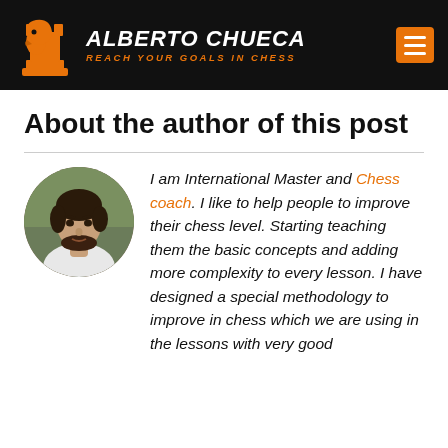[Figure (logo): Alberto Chueca chess website header with orange chess knight logo, white bold italic text 'ALBERTO CHUECA', orange italic text 'REACH YOUR GOALS IN CHESS', and orange hamburger menu button on black background]
About the author of this post
[Figure (photo): Circular cropped portrait photo of a young man with dark hair and beard, wearing a white shirt, against an outdoor/green background]
I am International Master and Chess coach. I like to help people to improve their chess level. Starting teaching them the basic concepts and adding more complexity to every lesson. I have designed a special methodology to improve in chess which we are using in the lessons with very good